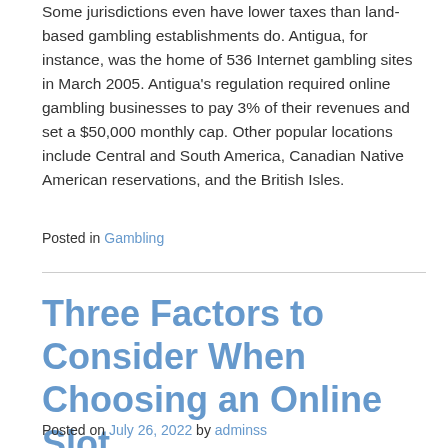Some jurisdictions even have lower taxes than land-based gambling establishments do. Antigua, for instance, was the home of 536 Internet gambling sites in March 2005. Antigua's regulation required online gambling businesses to pay 3% of their revenues and set a $50,000 monthly cap. Other popular locations include Central and South America, Canadian Native American reservations, and the British Isles.
Posted in Gambling
Three Factors to Consider When Choosing an Online Slot
Posted on July 26, 2022 by adminss